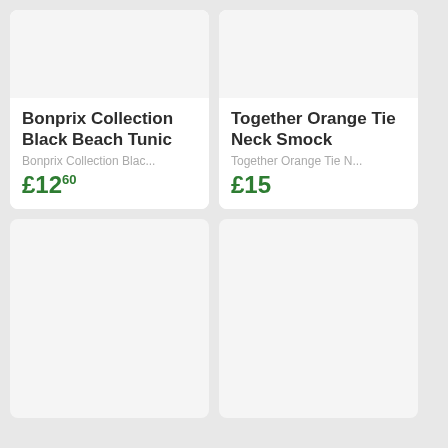[Figure (photo): Product image placeholder for Bonprix Collection Black Beach Tunic]
Bonprix Collection Black Beach Tunic
Bonprix Collection Blac...
£12.60
[Figure (photo): Product image placeholder for Together Orange Tie Neck Smock]
Together Orange Tie Neck Smock
Together Orange Tie N...
£15
[Figure (photo): Product image placeholder, bottom left card]
[Figure (photo): Product image placeholder, bottom right card]